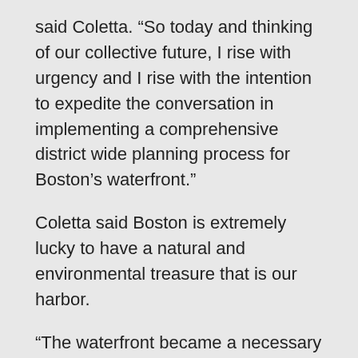said Coletta. “So today and thinking of our collective future, I rise with urgency and I rise with the intention to expedite the conversation in implementing a comprehensive district wide planning process for Boston’s waterfront.”
Coletta said Boston is extremely lucky to have a natural and environmental treasure that is our harbor.
“The waterfront became a necessary economic engine during the industrial era and over the years as the city expanded, contracted and expanded again, our waterfront has remained an industrial hub while also enjoying welcome investments into beautiful parks and open spaces on the water’s edge,” she said. “I think of places that I frequented as a child with my Abuela, like Piers Park and the iconic look LoPresti